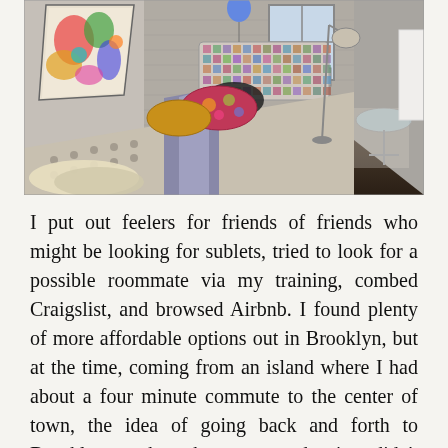[Figure (photo): Interior bedroom photo showing a bed with a patterned quilt and colorful decorative pillows against a grey-painted brick headboard. Colorful artwork hangs on the left wall. A floor lamp, a small side table, and a window with an air conditioning unit are visible. The floor is dark wood.]
I put out feelers for friends of friends who might be looking for sublets, tried to look for a possible roommate via my training, combed Craigslist, and browsed Airbnb. I found plenty of more affordable options out in Brooklyn, but at the time, coming from an island where I had about a four minute commute to the center of town, the idea of going back and forth to Brooklyn on the subway every day just didn't appeal (it's funny writing that now, when I probably do consider it routine). But at